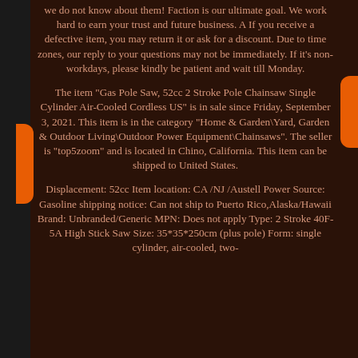we do not know about them! Faction is our ultimate goal. We work hard to earn your trust and future business. A If you receive a defective item, you may return it or ask for a discount. Due to time zones, our reply to your questions may not be immediately. If it's non-workdays, please kindly be patient and wait till Monday.
The item "Gas Pole Saw, 52cc 2 Stroke Pole Chainsaw Single Cylinder Air-Cooled Cordless US" is in sale since Friday, September 3, 2021. This item is in the category "Home & Garden\Yard, Garden & Outdoor Living\Outdoor Power Equipment\Chainsaws". The seller is "top5zoom" and is located in Chino, California. This item can be shipped to United States.
Displacement: 52cc Item location: CA /NJ /Austell Power Source: Gasoline shipping notice: Can not ship to Puerto Rico,Alaska/Hawaii Brand: Unbranded/Generic MPN: Does not apply Type: 2 Stroke 40F-5A High Stick Saw Size: 35*35*250cm (plus pole) Form: single cylinder, air-cooled, two-